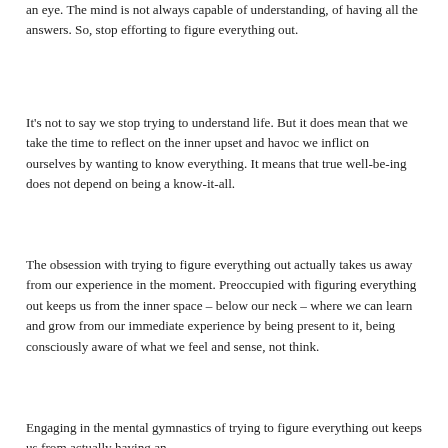an eye. The mind is not always capable of understanding, of having all the answers. So, stop efforting to figure everything out.
It's not to say we stop trying to understand life. But it does mean that we take the time to reflect on the inner upset and havoc we inflict on ourselves by wanting to know everything. It means that true well-be-ing does not depend on being a know-it-all.
The obsession with trying to figure everything out actually takes us away from our experience in the moment. Preoccupied with figuring everything out keeps us from the inner space – below our neck – where we can learn and grow from our immediate experience by being present to it, being consciously aware of what we feel and sense, not think.
Engaging in the mental gymnastics of trying to figure everything out keeps us from actually having an